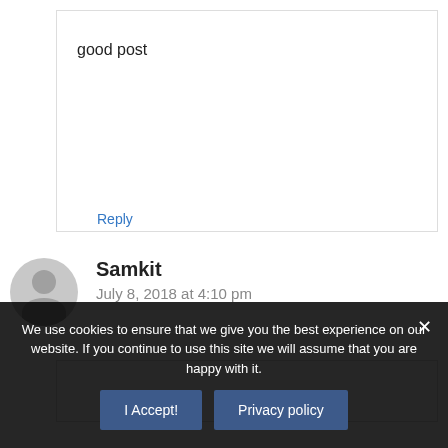good post
Reply
Samkit
July 8, 2018 at 4:10 pm
We use cookies to ensure that we give you the best experience on our website. If you continue to use this site we will assume that you are happy with it.
I Accept!
Privacy policy